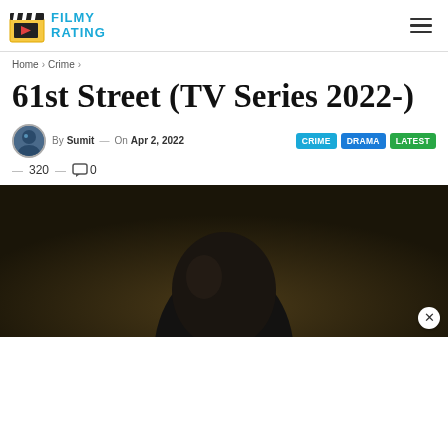FILMY RATING
Home > Crime >
61st Street (TV Series 2022-)
By Sumit — On Apr 2, 2022  CRIME  DRAMA  LATEST
— 320 — 0
[Figure (photo): Dark background image showing a person's silhouette/head, partial view, part of TV series promotional content]